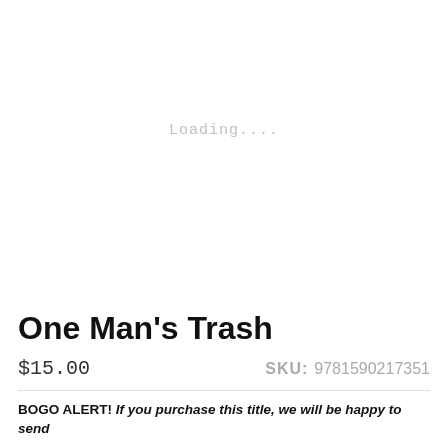Loading....
One Man's Trash
$15.00
SKU: 9781590217351
BOGO ALERT! If you purchase this title, we will be happy to send